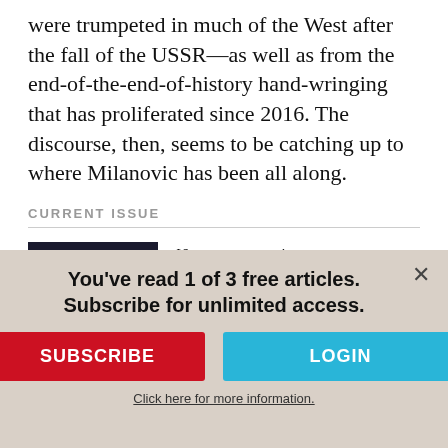were trumpeted in much of the West after the fall of the USSR—as well as from the end-of-the-end-of-history hand-wringing that has proliferated since 2016. The discourse, then, seems to be catching up to where Milanovic has been all along.
CURRENT ISSUE
[Figure (illustration): Magazine cover of The Nation showing vote buttons/pins on a yellow background with text about Southern Baptists and other stories]
View our current issue
Subscribe today and Save up to $129.
You've read 1 of 3 free articles. Subscribe for unlimited access.
SUBSCRIBE
LOGIN
Click here for more information.